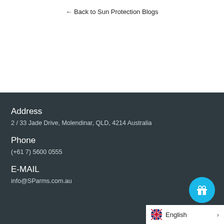← Back to Sun Protection Blogs
Address
2 / 33 Jade Drive, Molendinar, QLD, 4214 Australia
Phone
(+61 7) 5600 0555
E-MAIL
info@SParms.com.au
English